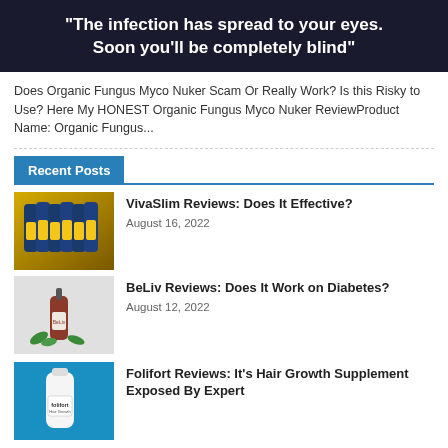[Figure (illustration): Dark banner with white bold text: "The infection has spread to your eyes. Soon you'll be completely blind"]
Does Organic Fungus Myco Nuker Scam Or Really Work? Is this Risky to Use? Here My HONEST Organic Fungus Myco Nuker ReviewProduct Name: Organic Fungus...
Recent Posts
[Figure (photo): Product image: multiple blue dropper bottles with yellow labels (VivaSlim) arranged on a golden/yellow background]
VivaSlim Reviews: Does It Effective?
August 16, 2022
[Figure (photo): Product image: a brown dropper bottle labeled BeLiv with green mint leaves on a light gray background]
BeLiv Reviews: Does It Work on Diabetes?
August 12, 2022
[Figure (photo): Product image: a white bottle labeled Folifort on a blue background]
Folifort Reviews: It's Hair Growth Supplement Exposed By Expert